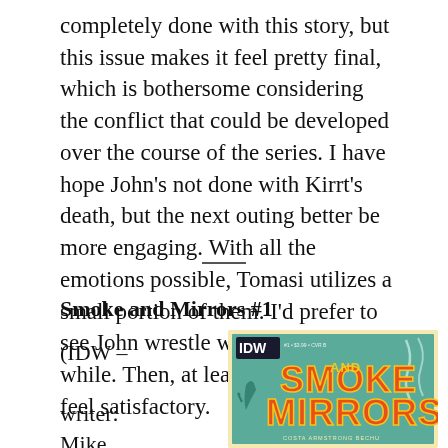completely done with this story, but this issue makes it feel pretty final, which is bothersome considering the conflict that could be developed over the course of the series. I have hope John's not done with Kirrt's death, but the next outing better be more engaging. With all the emotions possible, Tomasi utilizes a small portion of them. I'd prefer to see John wrestle with this for a long while. Then, at least, the payoff will feel satisfactory.
Smoke and Mirrors #1
(IDW – writer: Mike
[Figure (illustration): Comic book cover for Smoke and Mirrors #1 published by IDW. Teal/green retro-style cover with large orange and yellow stylized text reading 'SMOKE AND MIRRORS'. IDW logo in upper left corner. Credits at bottom: COSTA ARMSTRONG BECHU. Price shown: #1 $3.99 CVR B.]